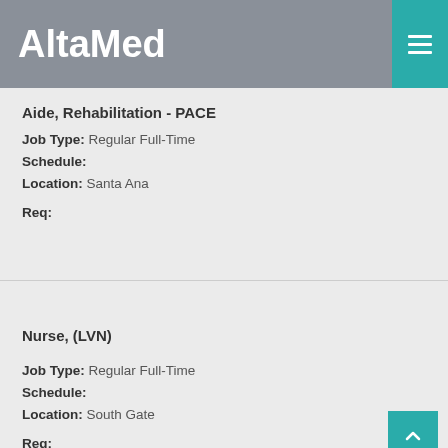AltaMed
Aide, Rehabilitation - PACE
Job Type: Regular Full-Time
Schedule:
Location: Santa Ana
Req:
Nurse, (LVN)
Job Type: Regular Full-Time
Schedule:
Location: South Gate
Req: